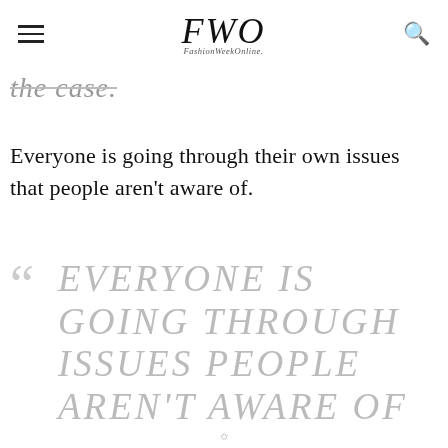FWO FashionWeekOnline
the case.
Everyone is going through their own issues that people aren't aware of.
““ EVERYONE IS GOING THROUGH ISSUES PEOPLE AREN'T AWARE OF